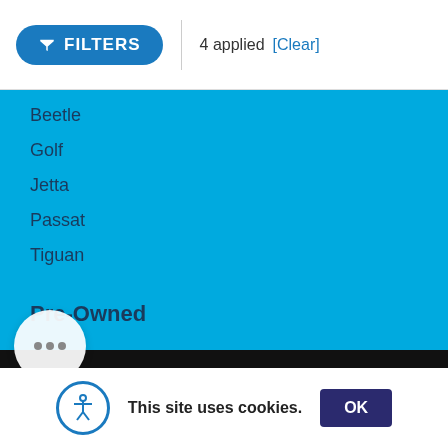FILTERS | 4 applied [Clear]
Beetle
Golf
Jetta
Passat
Tiguan
Pre-Owned
Certified Pre-Owned
Confidence
ned Volkswagen
All Pre-Owned
This site uses cookies.
OK